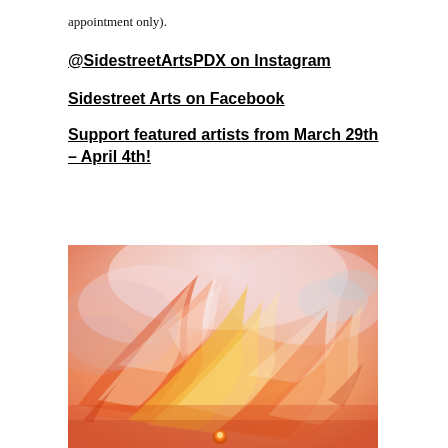appointment only).
@SidestreetArtsPDX on Instagram
Sidestreet Arts on Facebook
Support featured artists from March 29th – April 4th!
[Figure (illustration): Abstract painting with swirling strokes of orange, yellow, red, pink, and white, resembling flames or feathers, with a small orange orb near the bottom center.]